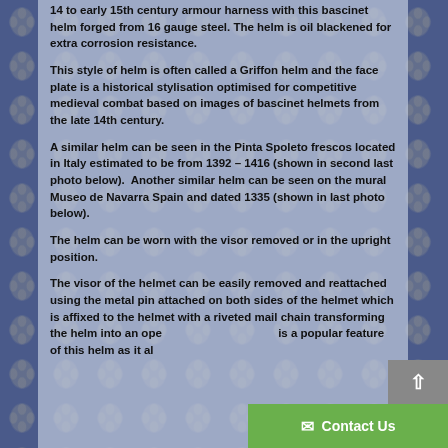14 to early 15th century armour harness with this bascinet helm forged from 16 gauge steel. The helm is oil blackened for extra corrosion resistance.
This style of helm is often called a Griffon helm and the face plate is a historical stylisation optimised for competitive medieval combat based on images of bascinet helmets from the late 14th century.
A similar helm can be seen in the Pinta Spoleto frescos located in Italy estimated to be from 1392 – 1416 (shown in second last photo below).  Another similar helm can be seen on the mural Museo de Navarra Spain and dated 1335 (shown in last photo below).
The helm can be worn with the visor removed or in the upright position.
The visor of the helmet can be easily removed and reattached using the metal pin attached on both sides of the helmet which is affixed to the helmet with a riveted mail chain transforming the helm into an ope... is a popular feature of this helm as it al...